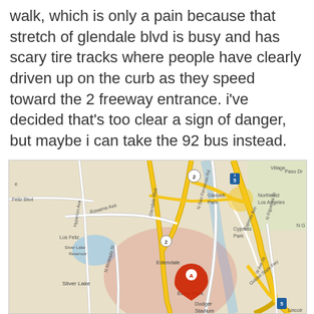walk, which is only a pain because that stretch of glendale blvd is busy and has scary tire tracks where people have clearly driven up on the curb as they speed toward the 2 freeway entrance. i've decided that's too clear a sign of danger, but maybe i can take the 92 bus instead.
[Figure (map): Google Map showing Echo Park, Silver Lake, Edendale, Glassell Park, Cypress Park, Northeast Los Angeles areas in Los Angeles, CA. Shows freeways 2 and 5, Glendale Blvd, Rowena Ave, Golden State Fwy, N San Fernando Rd. Red location marker labeled A near Echo Park. Silver Lake Reservoir visible.]